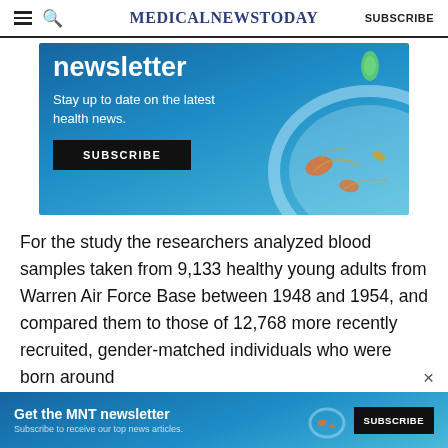MedicalNewsToday SUBSCRIBE
[Figure (illustration): Newsletter signup banner with teal/blue background, text 'newsletter', 'Stay up to date on the latest health news.', a SUBSCRIBE button, and a petri dish illustration with cells on the right.]
For the study the researchers analyzed blood samples taken from 9,133 healthy young adults from Warren Air Force Base between 1948 and 1954, and compared them to those of 12,768 more recently recruited, gender-matched individuals who were born around
ADVERTISEMENT
[Figure (illustration): Bottom banner: Get the MNT newsletter. Subscribe to receive our top news articles. SUBSCRIBE button.]